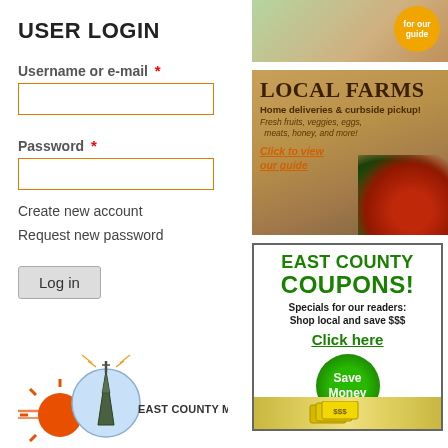USER LOGIN
Username or e-mail *
Password *
Create new account
Request new password
Log in
[Figure (logo): East County Magazine logo with broadcast tower and sun graphic]
[Figure (infographic): Top ad banner with food photo and yellow badge saying 'for our guide']
[Figure (infographic): LOCAL FARMS ad: Home deliveries & curbside pickup! Fresh fruits, veggies, eggs, meats, honey, and more! Click to view our guide]
[Figure (infographic): EAST COUNTY COUPONS! Specials for our readers: Shop local and save $$$ Click here. Green Save Money badge with cash.]